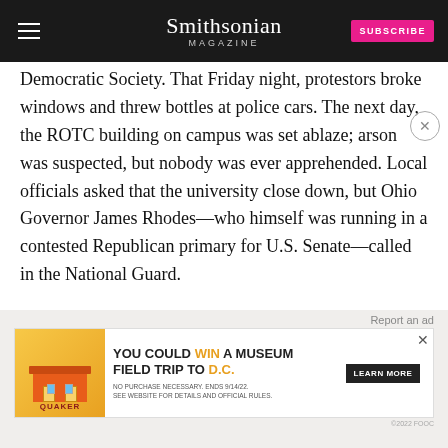Smithsonian MAGAZINE
Democratic Society. That Friday night, protestors broke windows and threw bottles at police cars. The next day, the ROTC building on campus was set ablaze; arson was suspected, but nobody was ever apprehended. Local officials asked that the university close down, but Ohio Governor James Rhodes—who himself was running in a contested Republican primary for U.S. Senate—called in the National Guard.
[Figure (screenshot): Advertisement banner for Quaker Museum Day promotion: 'You could win a museum field trip to D.C.' with Learn More button]